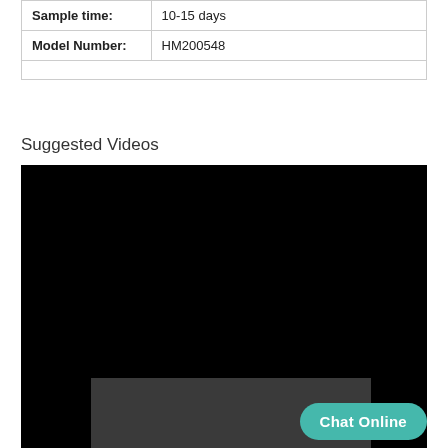| Sample time: | 10-15 days |
| Model Number: | HM200548 |
|  |  |
Suggested Videos
[Figure (screenshot): Black video player area with a dark gray panel at the bottom center and a teal 'Chat Online' button overlaid at the bottom right.]